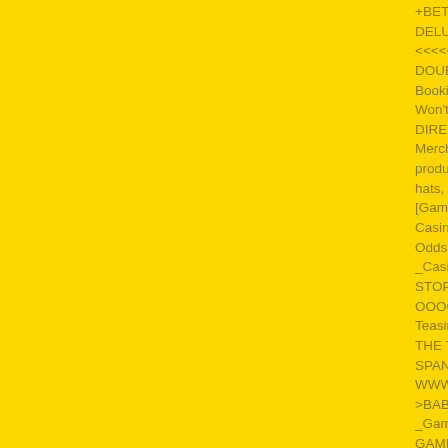+BETTER BONUS \\\\ TRY THIS BEGINNER DELUXE =*=*=*= DOUBLE JACKPOT :: DOUB <<<<<<<<AHHHH YEAH!!>>>>>>> quickfire ((( DOUBLE DOUBLE JACKPOT 777 INFERNO S Bookie Gin Rummy Pulltabs Joystick Pong Thri Won't Need Anything Else!!! GET AS HIGH AS Y DIRECTORY!!! >>>>>> WOW!!! All kinds of FC Merchandise, including Hats, Caps, Sports App product ideas! >>>>>> People get ready for Fa hats, blankets, flags, golf accessories and other [Gamblingcasino] Lay Odds Baby! ::::: <Let's Ro CasinoONLINE +Gambling+ = CASINO \\\ Or Odds Wager :::::::: Internet Casino !!!!!! SHOOT _CasinoInternet ... +_Web Gambling +WEBCAS STOP PLAYING!!! _Web _Casino WebGamblin OOOOH!!! WIN BIG!!!<<<<<<< Gambling_ Web Teasing Tweaking HOT BUTTONS Web_+ Inter THE THIRD EYE :::: THE MODES OF LOVE Ga SPANK IT - SEXYBABE, HONYBABE, SPANK I WWW &Casino &WWW Casino B_WWW > > > >BABES =WWW >Casino > WWW +(Casino _V _Gambling Virtual_Bet Virtual Betting & AND Si GAMBLE & GAMBLE Internet PLUS +Betting (( FFA_ :::::::Jimmy Rocker :::::::FFA + & ADD YOU URL < < < ADD YOUR URL |||||||FREE CLASSI Betting Site :::::::: Web_Betting_ Site+ +-Web ++ Gambling F_L_I_C_K_I_N_G \\ Casino==Gamb #Web $Casino *Combination ...Big &Gamble... )))) WATCH-OUT! You Won't Care About Anyth BLOWING YOUR FREAKING MIND!!! ==>Hous ... There, Try It, Bet on Gambling !!!!P...